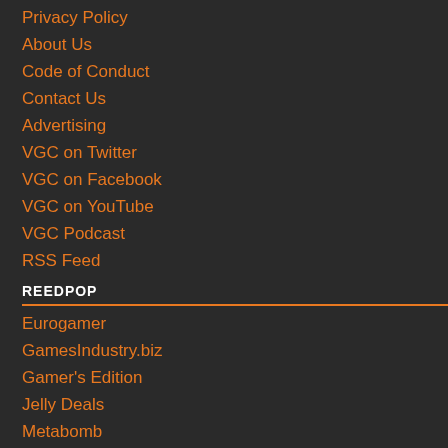Privacy Policy
About Us
Code of Conduct
Contact Us
Advertising
VGC on Twitter
VGC on Facebook
VGC on YouTube
VGC Podcast
RSS Feed
REEDPOP
Eurogamer
GamesIndustry.biz
Gamer's Edition
Jelly Deals
Metabomb
Nintendo Life